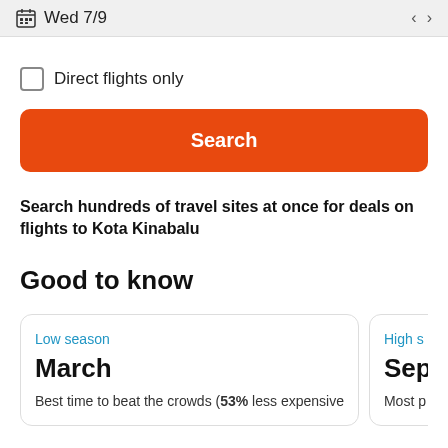Wed 7/9
Direct flights only
Search
Search hundreds of travel sites at once for deals on flights to Kota Kinabalu
Good to know
Low season
March
Best time to beat the crowds (53% less expensive
High s
Sep